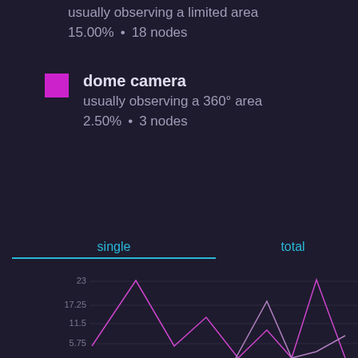usually observing a limited area
15.00%  •  18 nodes
dome camera
usually observing a 360° area
2.50%  •  3 nodes
single
total
[Figure (line-chart): Line chart on dark background showing two overlapping line series (purple/violet colors). Y-axis labels: 23, 17.25, 11.5, 5.75. Lines show peaks and valleys across x-axis data points.]